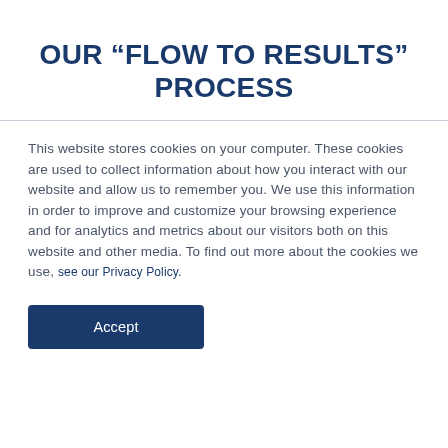OUR “FLOW TO RESULTS” PROCESS
This website stores cookies on your computer. These cookies are used to collect information about how you interact with our website and allow us to remember you. We use this information in order to improve and customize your browsing experience and for analytics and metrics about our visitors both on this website and other media. To find out more about the cookies we use, see our Privacy Policy.
Accept